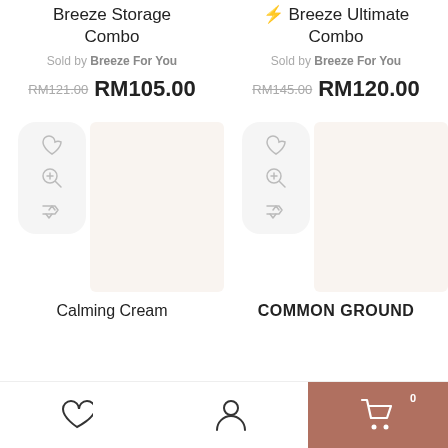Breeze Storage Combo
Breeze Ultimate Combo
Sold by Breeze For You
Sold by Breeze For You
RM121.00 RM105.00
RM145.00 RM120.00
[Figure (illustration): Action icon panel with heart, zoom, and shuffle icons (left product)]
[Figure (illustration): Action icon panel with heart, zoom, and shuffle icons (right product)]
Calming Cream
COMMON GROUND
[Figure (illustration): Bottom navigation bar with heart icon, user/account icon, and shopping cart icon with badge showing 0]